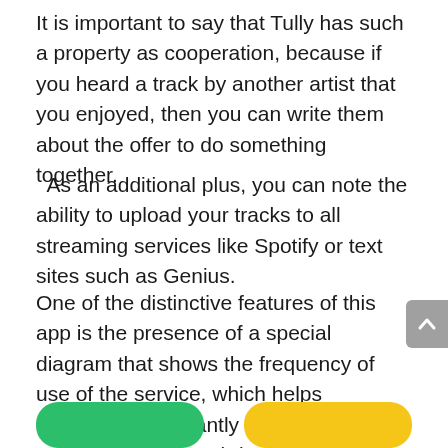It is important to say that Tully has such a property as cooperation, because if you heard a track by another artist that you enjoyed, then you can write them about the offer to do something together.
As an additional plus, you can note the ability to upload your tracks to all streaming services like Spotify or text sites such as Genius.
One of the distinctive features of this app is the presence of a special diagram that shows the frequency of use of the service, which helps developers constantly improve the program in order to bring it to the ideal.
[Figure (other): Green rounded button at bottom left]
[Figure (other): Yellow rounded button at bottom right]